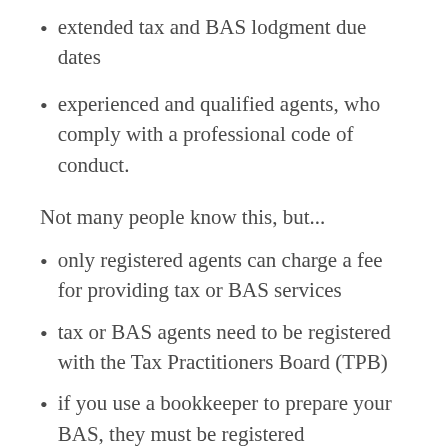extended tax and BAS lodgment due dates
experienced and qualified agents, who comply with a professional code of conduct.
Not many people know this, but...
only registered agents can charge a fee for providing tax or BAS services
tax or BAS agents need to be registered with the Tax Practitioners Board (TPB)
if you use a bookkeeper to prepare your BAS, they must be registered